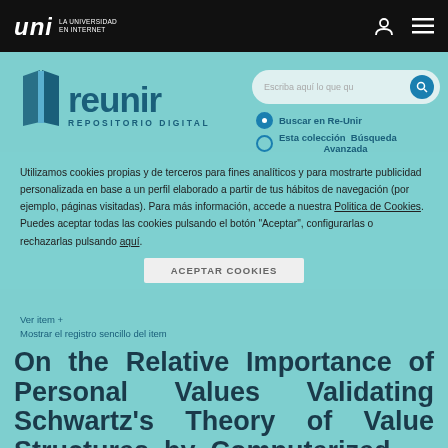UNIR - LA UNIVERSIDAD EN INTERNET
[Figure (logo): Reunir Repositorio Digital logo with blue book icon and teal wordmark]
Escriba aquí lo que qu
Buscar en Re-Unir
Esta colección  Búsqueda Avanzada
Utilizamos cookies propias y de terceros para fines analíticos y para mostrarte publicidad personalizada en base a un perfil elaborado a partir de tus hábitos de navegación (por ejemplo, páginas visitadas). Para más información, accede a nuestra Politica de Cookies. Puedes aceptar todas las cookies pulsando el botón "Aceptar", configurarlas o rechazarlas pulsando aquí.
ACEPTAR COOKIES
Ver item +
Mostrar el registro sencillo del item
On the Relative Importance of Personal Values Validating Schwartz's Theory of Value Structures by Computerized Principal Components...